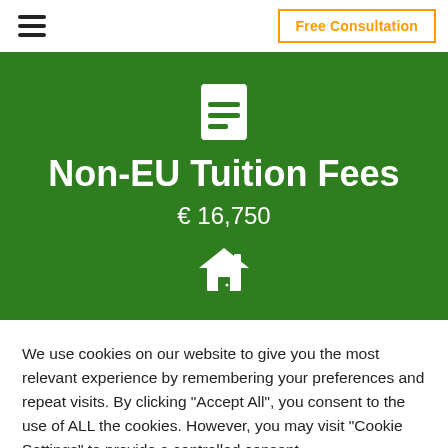Free Consultation
Non-EU Tuition Fees
€ 16,750
We use cookies on our website to give you the most relevant experience by remembering your preferences and repeat visits. By clicking "Accept All", you consent to the use of ALL the cookies. However, you may visit "Cookie Settings" to provide a controlled consent.
Cookie Settings
Accept All